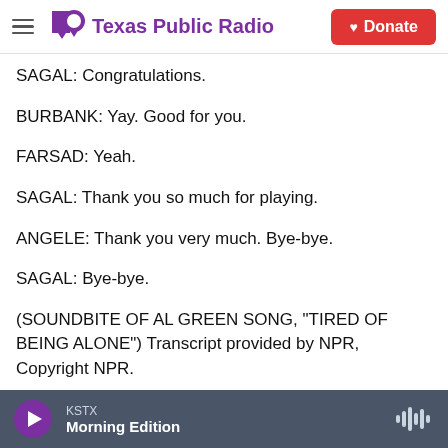Texas Public Radio — Donate
SAGAL: Congratulations.
BURBANK: Yay. Good for you.
FARSAD: Yeah.
SAGAL: Thank you so much for playing.
ANGELE: Thank you very much. Bye-bye.
SAGAL: Bye-bye.
(SOUNDBITE OF AL GREEN SONG, "TIRED OF BEING ALONE") Transcript provided by NPR, Copyright NPR.
KSTX — Morning Edition